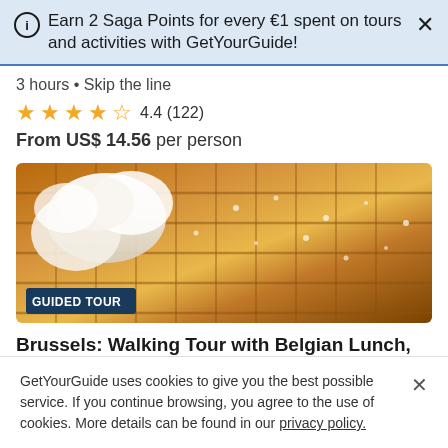Earn 2 Saga Points for every €1 spent on tours and activities with GetYourGuide!
3 hours • Skip the line
4.4 (122)
From US$ 14.56 per person
[Figure (photo): Close-up photo of a Belgian waffle with whipped cream and powdered sugar, with a 'GUIDED TOUR' badge overlay]
Brussels: Walking Tour with Belgian Lunch, Chocolate, & Beer
4 hours • Skip the line
GetYourGuide uses cookies to give you the best possible service. If you continue browsing, you agree to the use of cookies. More details can be found in our privacy policy.